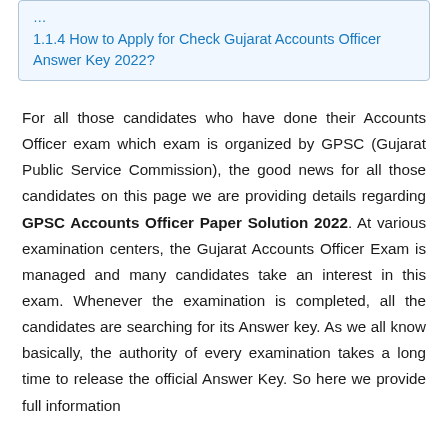1.1.4 How to Apply for Check Gujarat Accounts Officer Answer Key 2022?
For all those candidates who have done their Accounts Officer exam which exam is organized by GPSC (Gujarat Public Service Commission), the good news for all those candidates on this page we are providing details regarding GPSC Accounts Officer Paper Solution 2022. At various examination centers, the Gujarat Accounts Officer Exam is managed and many candidates take an interest in this exam. Whenever the examination is completed, all the candidates are searching for its Answer key. As we all know basically, the authority of every examination takes a long time to release the official Answer Key. So here we provide full information